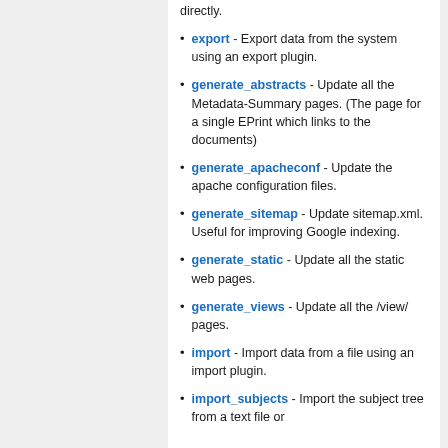export - Export data from the system using an export plugin.
generate_abstracts - Update all the Metadata-Summary pages. (The page for a single EPrint which links to the documents)
generate_apacheconf - Update the apache configuration files.
generate_sitemap - Update sitemap.xml. Useful for improving Google indexing.
generate_static - Update all the static web pages.
generate_views - Update all the /view/ pages.
import - Import data from a file using an import plugin.
import_subjects - Import the subject tree from a text file or